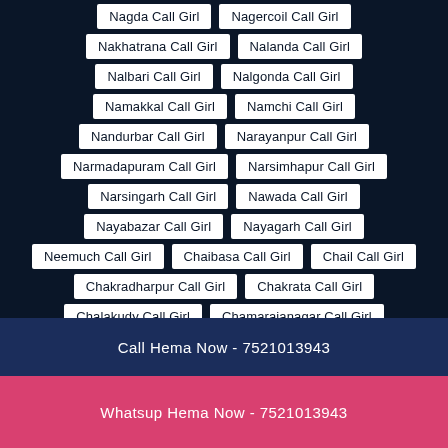Nagda Call Girl
Nagercoil Call Girl
Nakhatrana Call Girl
Nalanda Call Girl
Nalbari Call Girl
Nalgonda Call Girl
Namakkal Call Girl
Namchi Call Girl
Nandurbar Call Girl
Narayanpur Call Girl
Narmadapuram Call Girl
Narsimhapur Call Girl
Narsingarh Call Girl
Nawada Call Girl
Nayabazar Call Girl
Nayagarh Call Girl
Neemuch Call Girl
Chaibasa Call Girl
Chail Call Girl
Chakradharpur Call Girl
Chakrata Call Girl
Chalakudy Call Girl
Chamarajanagar Call Girl
Champawat Call Girl
Chamoli Call Girl
Chandauli Call Girl
Chandausi Call Girl
Call Hema Now - 7521013943
Whatsup Hema Now - 7521013943